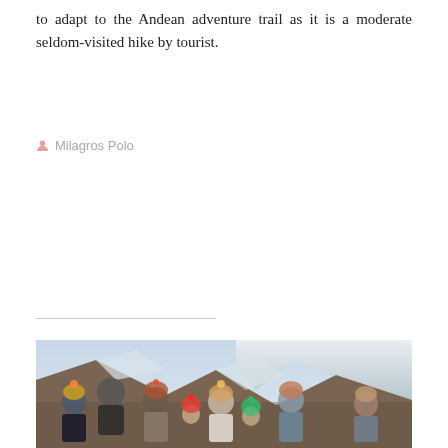to adapt to the Andean adventure trail as it is a moderate seldom-visited hike by tourist.
Milagros Polo
[Figure (photo): Group of tourists wearing colorful traditional Andean knitted hats posing in front of a snow-capped mountain landscape.]